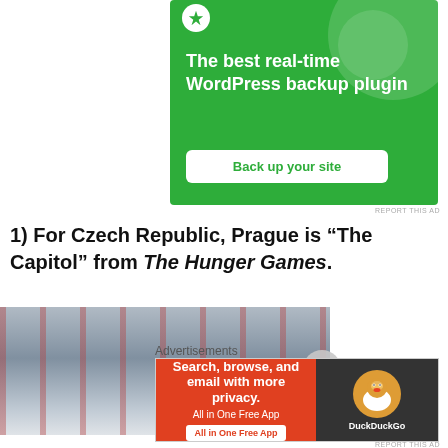[Figure (illustration): Green advertisement banner for a WordPress backup plugin (JetPack/similar) with text 'The best real-time WordPress backup plugin' and a white button 'Back up your site']
REPORT THIS AD
1) For Czech Republic, Prague is “The Capitol” from The Hunger Games.
[Figure (photo): Interior architectural photo showing a long tunnel or corridor with repeating red structural elements on a glass/metal ceiling, perspective view]
Advertisements
[Figure (illustration): DuckDuckGo advertisement banner: 'Search, browse, and email with more privacy. All in One Free App' with DuckDuckGo duck logo on dark background]
REPORT THIS AD